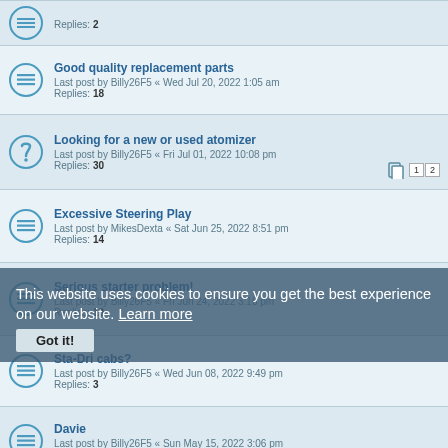Replies: 2
Good quality replacement parts
Last post by Billy26F5 « Wed Jul 20, 2022 1:05 am
Replies: 18
Looking for a new or used atomizer
Last post by Billy26F5 « Fri Jul 01, 2022 10:08 pm
Replies: 30
Pages: 1 2
Excessive Steering Play
Last post by MikesDexta « Sat Jun 25, 2022 8:51 pm
Replies: 14
Serious starter problem!
Last post by Billy26F5 « Fri Jun 24, 2022 3:16 pm
Replies: 10
Sta-Dri cabs?
Last post by Billy26F5 « Wed Jun 08, 2022 9:49 pm
Replies: 3
Davie
Last post by Billy26F5 « Sun May 15, 2022 3:06 pm
Replies: 5
Cold start button
Last post by Billy26F5 « Sun May 08, 2022 ...
Replies: 7
Diesel Fuel Filter Upgrade
Last post by sky blue « ... 03, 2022 10:02 pm
Replies: 1
1960 diesel fuel filter washers
Last post by FarmallM51 « Sun May 01, 2022 12:55 pm
This website uses cookies to ensure you get the best experience on our website. Learn more
Got it!